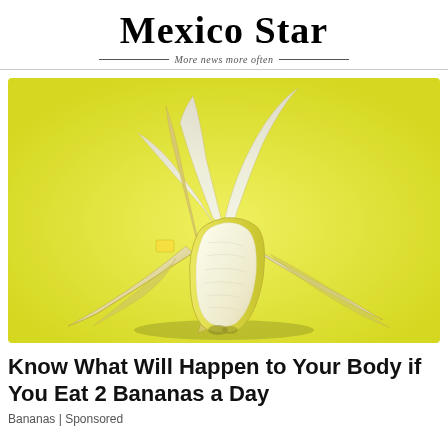Mexico Star
More news more often
[Figure (photo): A peeled banana with its skin spread open on a bright yellow background, studio product shot.]
Know What Will Happen to Your Body if You Eat 2 Bananas a Day
Bananas | Sponsored